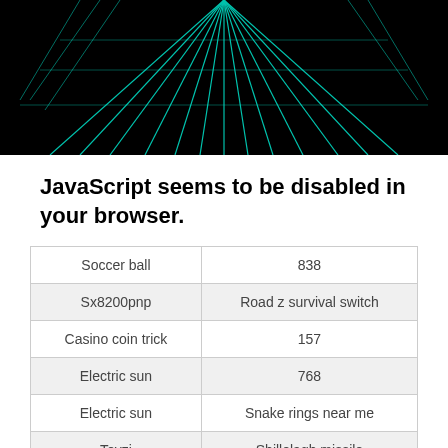[Figure (screenshot): Dark background with cyan/teal glowing geometric lines radiating outward, resembling a Tron-like digital grid visualization.]
JavaScript seems to be disabled in your browser.
| Soccer ball | 838 |
| Sx8200pnp | Road z survival switch |
| Casino coin trick | 157 |
| Electric sun | 768 |
| Electric sun | Snake rings near me |
| Tevzi | Shillelagh missile |